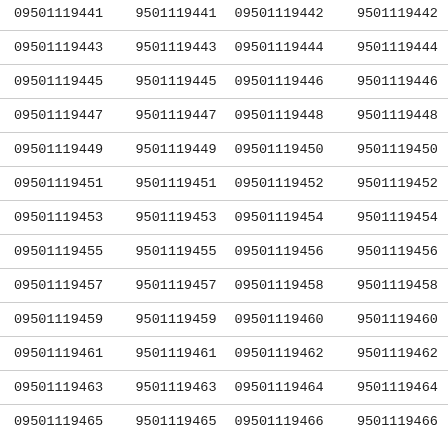| 09501119441 | 9501119441 | 09501119442 | 9501119442 |
| 09501119443 | 9501119443 | 09501119444 | 9501119444 |
| 09501119445 | 9501119445 | 09501119446 | 9501119446 |
| 09501119447 | 9501119447 | 09501119448 | 9501119448 |
| 09501119449 | 9501119449 | 09501119450 | 9501119450 |
| 09501119451 | 9501119451 | 09501119452 | 9501119452 |
| 09501119453 | 9501119453 | 09501119454 | 9501119454 |
| 09501119455 | 9501119455 | 09501119456 | 9501119456 |
| 09501119457 | 9501119457 | 09501119458 | 9501119458 |
| 09501119459 | 9501119459 | 09501119460 | 9501119460 |
| 09501119461 | 9501119461 | 09501119462 | 9501119462 |
| 09501119463 | 9501119463 | 09501119464 | 9501119464 |
| 09501119465 | 9501119465 | 09501119466 | 9501119466 |